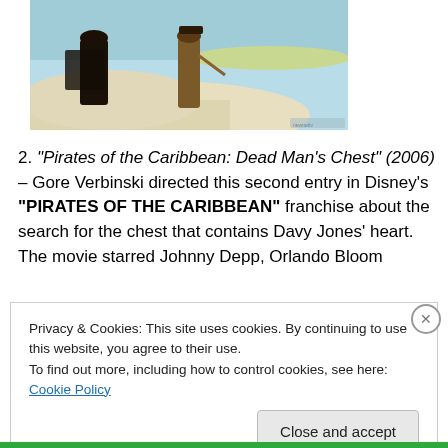[Figure (photo): Scene from Pirates of the Caribbean movie showing two figures on a sandy beach with turquoise water in background]
2. "Pirates of the Caribbean: Dead Man's Chest" (2006) – Gore Verbinski directed this second entry in Disney's "PIRATES OF THE CARIBBEAN" franchise about the search for the chest that contains Davy Jones' heart. The movie starred Johnny Depp, Orlando Bloom
Privacy & Cookies: This site uses cookies. By continuing to use this website, you agree to their use.
To find out more, including how to control cookies, see here: Cookie Policy
Close and accept